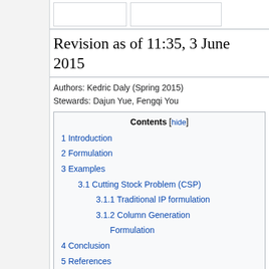Revision as of 11:35, 3 June 2015
Authors: Kedric Daly (Spring 2015)
Stewards: Dajun Yue, Fengqi You
| Contents [hide] |
| 1 Introduction |
| 2 Formulation |
| 3 Examples |
| 3.1 Cutting Stock Problem (CSP) |
| 3.1.1 Traditional IP formulation |
| 3.1.2 Column Generation Formulation |
| 4 Conclusion |
| 5 References |
Introduction
Column generation algorithms are used for MILP problems. The formulation was initially